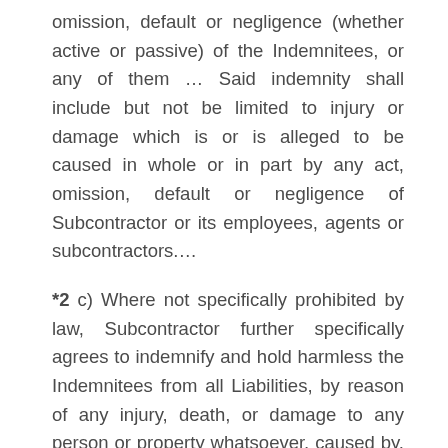omission, default or negligence (whether active or passive) of the Indemnitees, or any of them … Said indemnity shall include but not be limited to injury or damage which is or is alleged to be caused in whole or in part by any act, omission, default or negligence of Subcontractor or its employees, agents or subcontractors.…
*2 c) Where not specifically prohibited by law, Subcontractor further specifically agrees to indemnify and hold harmless the Indemnitees from all Liabilities, by reason of any injury, death, or damage to any person or property whatsoever, caused by, arising from, incident to, or connected with the performance or nonperformance of the